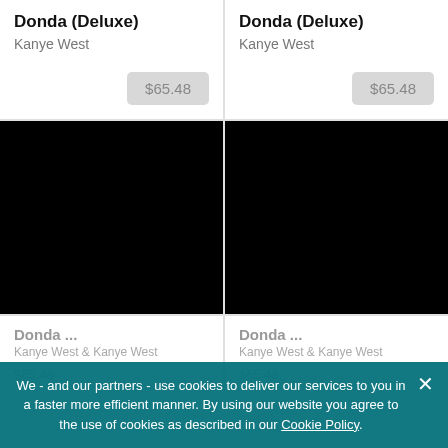Donda (Deluxe)
Kanye West
$65.48
Donda (Deluxe)
Kanye West
$65.48
[Figure (photo): Black album art image (left)]
[Figure (photo): Black album art image (right)]
Donda ...
Kanye West
$65.48
Donda ...
Kanye West
$65.48
We - and our partners - use cookies to deliver our services to you in a faster more efficient manner. By using our website you agree to the use of cookies as described in our Cookie Policy.